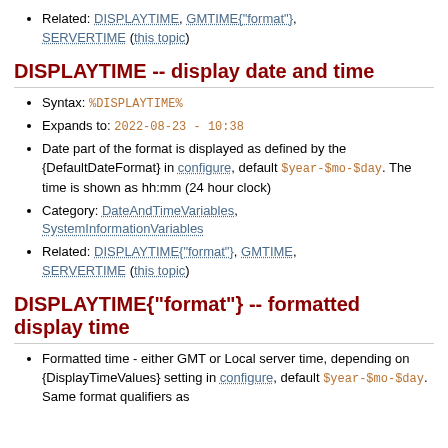Related: DISPLAYTIME, GMTIME{"format"}, SERVERTIME (this topic)
DISPLAYTIME -- display date and time
Syntax: %DISPLAYTIME%
Expands to: 2022-08-23 - 10:38
Date part of the format is displayed as defined by the {DefaultDateFormat} in configure, default $year-$mo-$day. The time is shown as hh:mm (24 hour clock)
Category: DateAndTimeVariables, SystemInformationVariables
Related: DISPLAYTIME{"format"}, GMTIME, SERVERTIME (this topic)
DISPLAYTIME{"format"} -- formatted display time
Formatted time - either GMT or Local server time, depending on {DisplayTimeValues} setting in configure, default $year-$mo-$day. Same format qualifiers as